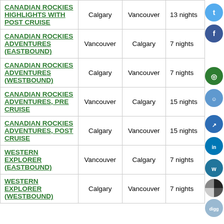| Tour Name | Start | End | Duration |
| --- | --- | --- | --- |
| CANADIAN ROCKIES HIGHLIGHTS WITH POST CRUISE | Calgary | Vancouver | 13 nights |
| CANADIAN ROCKIES ADVENTURES (EASTBOUND) | Vancouver | Calgary | 7 nights |
| CANADIAN ROCKIES ADVENTURES (WESTBOUND) | Calgary | Vancouver | 7 nights |
| CANADIAN ROCKIES ADVENTURES, PRE CRUISE | Vancouver | Calgary | 15 nights |
| CANADIAN ROCKIES ADVENTURES, POST CRUISE | Calgary | Vancouver | 15 nights |
| WESTERN EXPLORER (EASTBOUND) | Vancouver | Calgary | 7 nights |
| WESTERN EXPLORER (WESTBOUND) | Calgary | Vancouver | 7 nights |